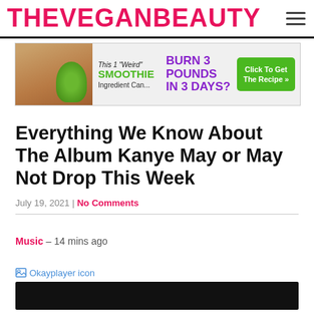THEVEGANBEAUTY
[Figure (photo): Advertisement banner: smoothie with body image, text 'This 1 Weird SMOOTHIE Ingredient Can... BURN 3 POUNDS IN 3 DAYS? Click To Get The Recipe »']
Everything We Know About The Album Kanye May or May Not Drop This Week
July 19, 2021 | No Comments
Music – 14 mins ago
[Figure (photo): Okayplayer icon (broken image link) followed by a dark/black video bar]